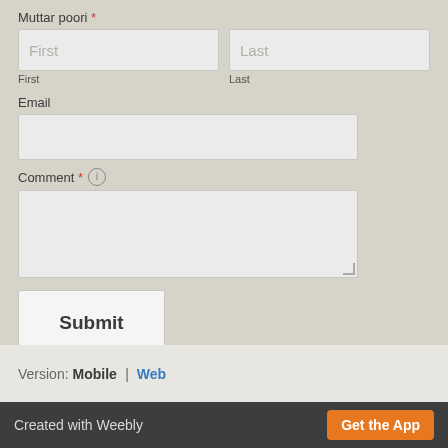Muttar poori *
[Figure (screenshot): Form with First and Last name input fields side by side, each with placeholder text]
Email
[Figure (screenshot): Email input text box (empty)]
Comment * (info icon)
[Figure (screenshot): Comment textarea with resize handle]
[Figure (screenshot): Submit button]
Version: Mobile | Web
Created with Weebly   Get the App